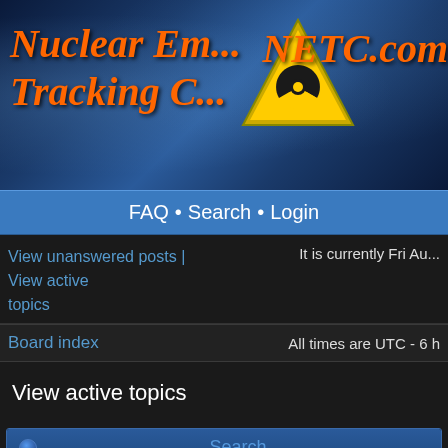[Figure (screenshot): NETC website header banner with orange italic text 'Nuclear Em... Tracking C...' on blue/dark background, radioactive symbol logo in yellow triangle, and 'NETC.com' text]
FAQ • Search • Login
View unanswered posts | View active topics    It is currently Fri Au...
Board index    All times are UTC - 6 h
View active topics
Search
|  | Topics | Author | Replies | Views |
| --- | --- | --- | --- | --- |
| ○ | Trouble setting location
in Nuclear Emergency Tracking Center | Bert490 | 3 | 12820 |